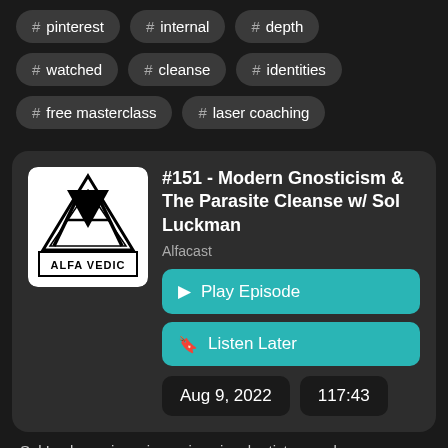# pinterest
# internal
# depth
# watched
# cleanse
# identities
# free masterclass
# laser coaching
[Figure (logo): Alfa Vedic logo: black triangle with stylized A shape and text ALFA VEDIC in a white square]
#151 - Modern Gnosticism & The Parasite Cleanse w/ Sol Luckman
Alfacast
▶ Play Episode
☐ Listen Later
Aug 9, 2022
117:43
Sol Luckman is a pioneering visual artist, award